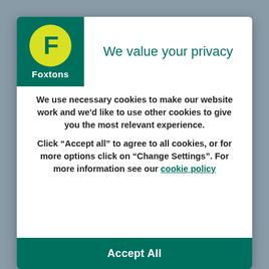[Figure (logo): Foxtons real estate logo: green background with yellow circle containing bold F, white text 'Foxtons' below]
We value your privacy
We use necessary cookies to make our website work and we'd like to use other cookies to give you the most relevant experience.
Click “Accept all” to agree to all cookies, or for more options click on “Change Settings”. For more information see our cookie policy